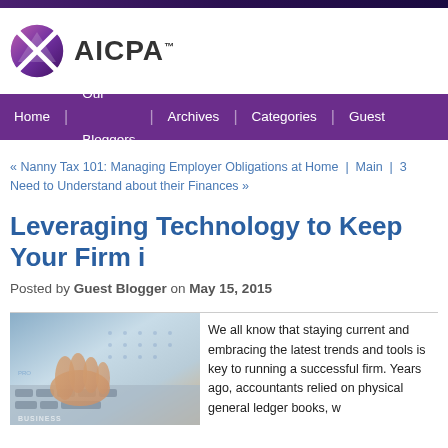[Figure (logo): AICPA logo with globe/sphere icon and AICPA text]
Home | Our Bloggers | Archives | Categories | Become a Guest Blogger
« Nanny Tax 101: Managing Employer Obligations at Home | Main | 3 Need to Understand about their Finances »
Leveraging Technology to Keep Your Firm i
Posted by Guest Blogger on May 15, 2015
[Figure (photo): Photo of hands on keyboard with technology/finance imagery]
We all know that staying current and embracing the latest trends and tools is key to running a successful firm. Years ago, accountants relied on physical general ledger books, w